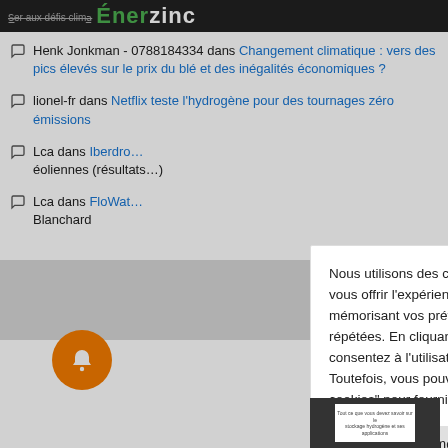Énerzine
Henk Jonkman - 0788184334 dans Changement climatique : vers des pics élevés sur le prix du blé et des inégalités économiques ?
lionel-fr dans Netflix teste l'hydrogène pour des tournages zéro émissions
Lca dans Iberdrola … éoliennes (résultats)
Lca dans FloWat … Blanchard
Nous utilisons des cookies sur notre site web pour vous offrir l'expérience la plus pertinente en mémorisant vos préférences et vos visites répétées. En cliquant sur "Accepter tout", vous consentez à l'utilisation de TOUS les cookies. Toutefois, vous pouvez visiter "Paramètres des cookies" pour fournir un consentement contrôlé.
Paramètres des cookies
Accepter tout